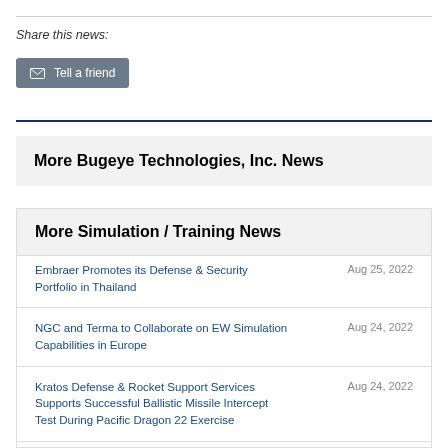Share this news:
✉ Tell a friend
More Bugeye Technologies, Inc. News
More Simulation / Training News
Embraer Promotes its Defense & Security Portfolio in Thailand — Aug 25, 2022
NGC and Terma to Collaborate on EW Simulation Capabilities in Europe — Aug 24, 2022
Kratos Defense & Rocket Support Services Supports Successful Ballistic Missile Intercept Test During Pacific Dragon 22 Exercise — Aug 24, 2022